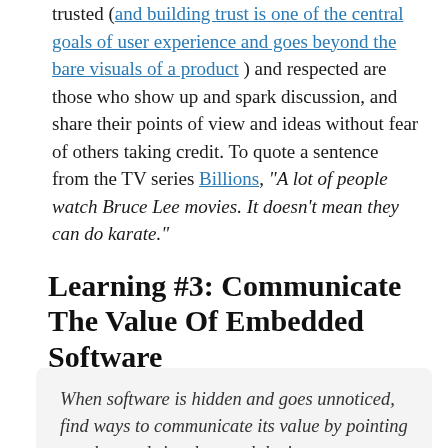trusted (and building trust is one of the central goals of user experience and goes beyond the bare visuals of a product ) and respected are those who show up and spark discussion, and share their points of view and ideas without fear of others taking credit. To quote a sentence from the TV series Billions, "A lot of people watch Bruce Lee movies. It doesn't mean they can do karate."
Learning #3: Communicate The Value Of Embedded Software
When software is hidden and goes unnoticed, find ways to communicate its value by pointing out the needs it solves and the impact